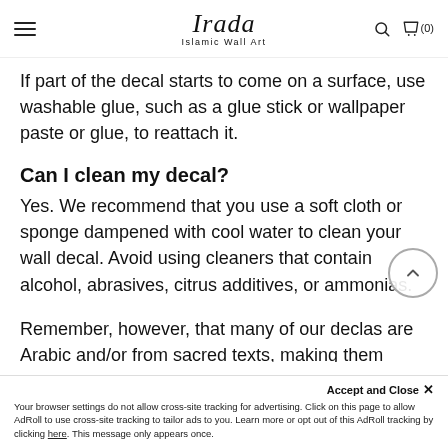Irada Islamic Wall Art
If part of the decal starts to come on a surface, use washable glue, such as a glue stick or wallpaper paste or glue, to reattach it.
Can I clean my decal?
Yes. We recommend that you use a soft cloth or sponge dampened with cool water to clean your wall decal. Avoid using cleaners that contain alcohol, abrasives, citrus additives, or ammonias.
Remember, however, that many of our declas are Arabic and/or from sacred texts, making them
Accept and Close ✕
Your browser settings do not allow cross-site tracking for advertising. Click on this page to allow AdRoll to use cross-site tracking to tailor ads to you. Learn more or opt out of this AdRoll tracking by clicking here. This message only appears once.